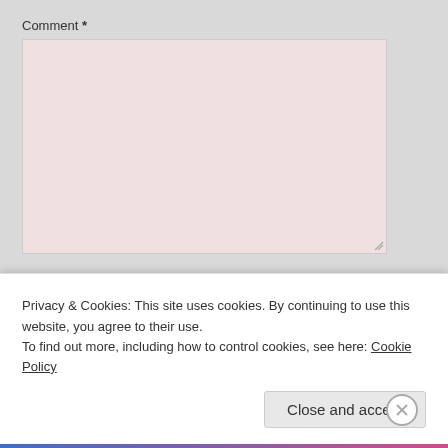Comment *
[Figure (screenshot): Large pink textarea input field for comment]
Name *
[Figure (screenshot): Pink input field for name]
Email *
[Figure (screenshot): Pink input field for email (partially visible under cookie popup)]
Privacy & Cookies: This site uses cookies. By continuing to use this website, you agree to their use.
To find out more, including how to control cookies, see here: Cookie Policy
Close and accept